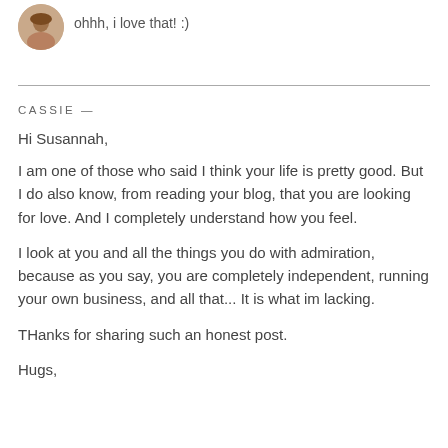[Figure (photo): Small circular avatar photo of a person with brown hair]
ohhh, i love that! :)
CASSIE —
Hi Susannah,
I am one of those who said I think your life is pretty good. But I do also know, from reading your blog, that you are looking for love. And I completely understand how you feel.
I look at you and all the things you do with admiration, because as you say, you are completely independent, running your own business, and all that... It is what im lacking.
THanks for sharing such an honest post.
Hugs,